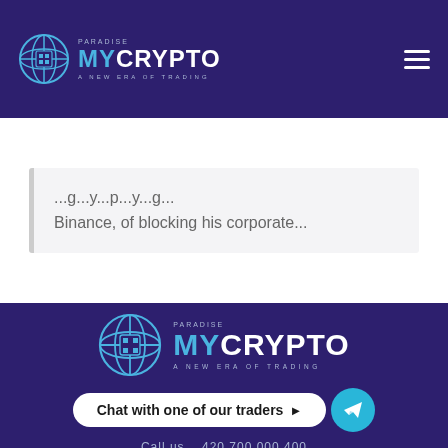[Figure (logo): MyCrypto Paradise logo with globe icon and tagline 'A NEW ERA OF TRADING' in header]
...g...y...p...y...g...
Binance, of blocking his corporate...
[Figure (logo): MyCrypto Paradise logo with globe icon and tagline 'A NEW ERA OF TRADING' in footer]
Chat with one of our traders
Call us... 420 700 000 400